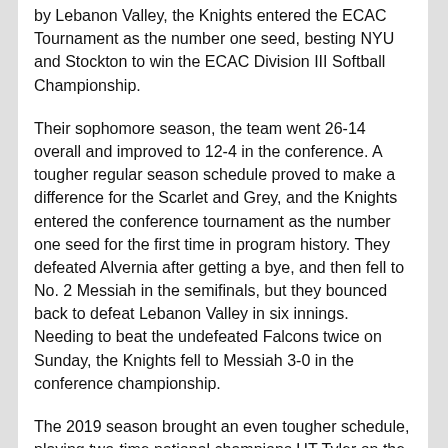by Lebanon Valley, the Knights entered the ECAC Tournament as the number one seed, besting NYU and Stockton to win the ECAC Division III Softball Championship.
Their sophomore season, the team went 26-14 overall and improved to 12-4 in the conference. A tougher regular season schedule proved to make a difference for the Scarlet and Grey, and the Knights entered the conference tournament as the number one seed for the first time in program history. They defeated Alvernia after getting a bye, and then fell to No. 2 Messiah in the semifinals, but they bounced back to defeat Lebanon Valley in six innings. Needing to beat the undefeated Falcons twice on Sunday, the Knights fell to Messiah 3-0 in the conference championship.
The 2019 season brought an even tougher schedule, playing two-time national champions UT Tyler on the season's opening day in Florida. Though they started off a